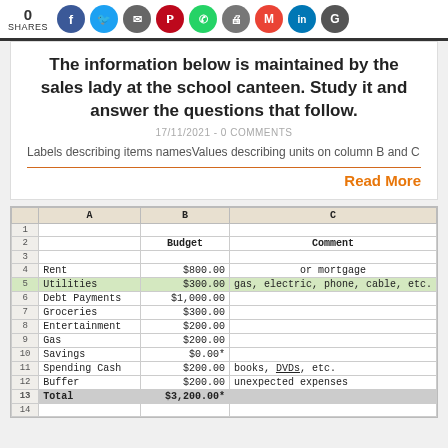0 SHARES
The information below is maintained by the sales lady at the school canteen. Study it and answer the questions that follow.
17/11/2021 - 0 COMMENTS
Labels describing items namesValues describing units on column B and C
Read More
|  | A | B | C |
| --- | --- | --- | --- |
| 1 |  |  |  |
| 2 |  | Budget | Comment |
| 3 |  |  |  |
| 4 | Rent | $800.00 | or mortgage |
| 5 | Utilities | $300.00 | gas, electric, phone, cable, etc. |
| 6 | Debt Payments | $1,000.00 |  |
| 7 | Groceries | $300.00 |  |
| 8 | Entertainment | $200.00 |  |
| 9 | Gas | $200.00 |  |
| 10 | Savings | $0.00* |  |
| 11 | Spending Cash | $200.00 | books, DVDs, etc. |
| 12 | Buffer | $200.00 | unexpected expenses |
| 13 | Total | $3,200.00* |  |
| 14 |  |  |  |